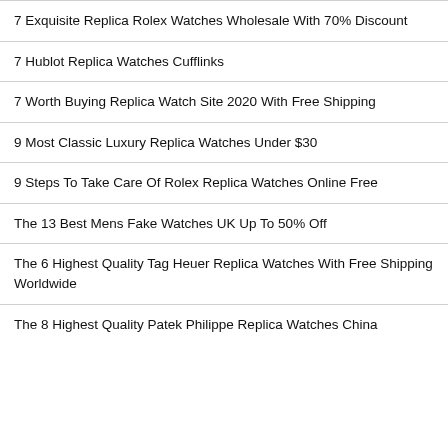7 Exquisite Replica Rolex Watches Wholesale With 70% Discount
7 Hublot Replica Watches Cufflinks
7 Worth Buying Replica Watch Site 2020 With Free Shipping
9 Most Classic Luxury Replica Watches Under $30
9 Steps To Take Care Of Rolex Replica Watches Online Free
The 13 Best Mens Fake Watches UK Up To 50% Off
The 6 Highest Quality Tag Heuer Replica Watches With Free Shipping Worldwide
The 8 Highest Quality Patek Philippe Replica Watches China